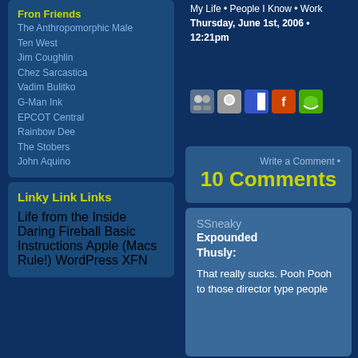Fron Friends
The Anthropomorphic Male
Ten West
Jim Coughlin
Chez Sarcastica
Vadim Bulitko
G-Man Ink
EPCOT Central
Rainbow Dee
The Stobers
John Aquino
My Life • People I Know • Work
Thursday, June 1st, 2006 • 12:21pm
Write a Comment • 10 Comments
Linky Link Links
Life from the Inside
Daring Fireball
Basic Instructions
Apple (Macs Rule!)
WordPress
XFN
SSneaky Expounded Thusly: That really sucks. Pooh Pooh to those director type people